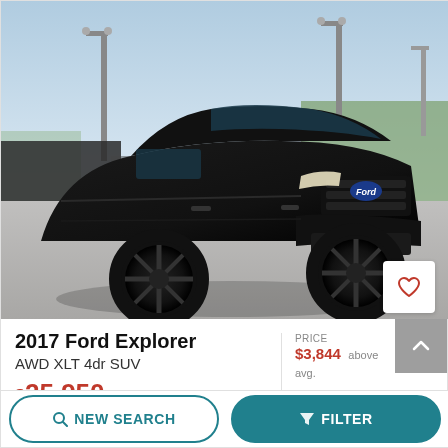[Figure (photo): Black 2017 Ford Explorer AWD XLT 4dr SUV photographed in a parking lot, front three-quarter view, with dark custom wheels and tinted trim. Background shows a car dealership lot with lamp posts and trees.]
2017 Ford Explorer
AWD XLT 4dr SUV
$25,950 +386/mo*  PRICE $3,844 above avg.
NEW SEARCH
FILTER